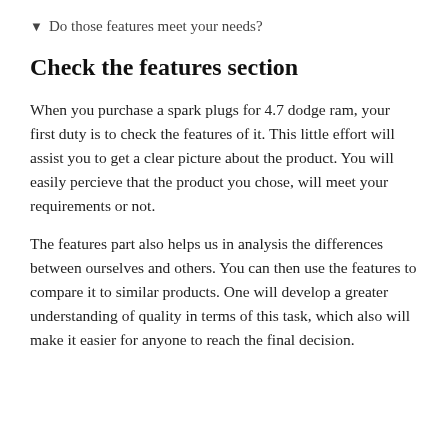▼ Do those features meet your needs?
Check the features section
When you purchase a spark plugs for 4.7 dodge ram, your first duty is to check the features of it. This little effort will assist you to get a clear picture about the product. You will easily percieve that the product you chose, will meet your requirements or not.
The features part also helps us in analysis the differences between ourselves and others. You can then use the features to compare it to similar products. One will develop a greater understanding of quality in terms of this task, which also will make it easier for anyone to reach the final decision.